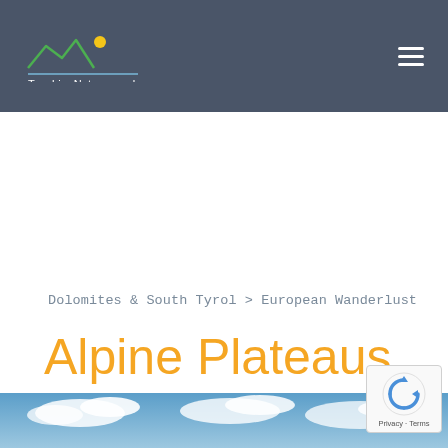TouchingNature.co.uk
Dolomites & South Tyrol > European Wanderlust
Alpine Plateaus & Mountains: Seiser Alm and Schlern
[Figure (photo): Sky and clouds photo strip at bottom of page]
[Figure (other): reCAPTCHA badge with Privacy and Terms links]